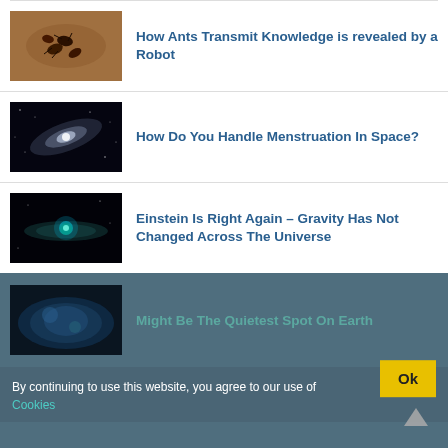[Figure (photo): Ants clustered together, reddish-brown color]
How Ants Transmit Knowledge is revealed by a Robot
[Figure (photo): Galaxy in space, dark background with bright spiral galaxy]
How Do You Handle Menstruation In Space?
[Figure (photo): Glowing blue-green object in dark space]
Einstein Is Right Again – Gravity Has Not Changed Across The Universe
[Figure (photo): Earth from space, dark blue tones]
Might Be The Quietest Spot On Earth
By continuing to use this website, you agree to our use of Cookies